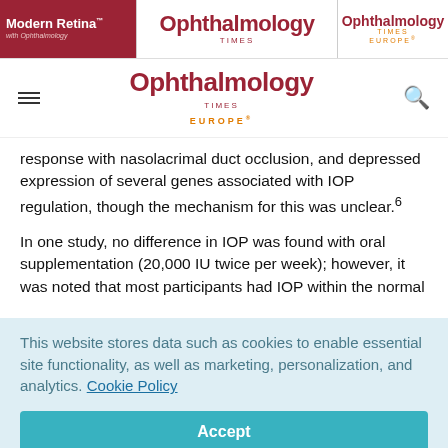[Figure (screenshot): Top navigation banner with Modern Retina, Ophthalmology Times, and Ophthalmology Times Europe logos]
[Figure (screenshot): Navigation bar with hamburger menu, Ophthalmology Times Europe logo, and search icon]
response with nasolacrimal duct occlusion, and depressed expression of several genes associated with IOP regulation, though the mechanism for this was unclear.6
In one study, no difference in IOP was found with oral supplementation (20,000 IU twice per week); however, it was noted that most participants had IOP within the normal
This website stores data such as cookies to enable essential site functionality, as well as marketing, personalization, and analytics. Cookie Policy
Accept
Deny